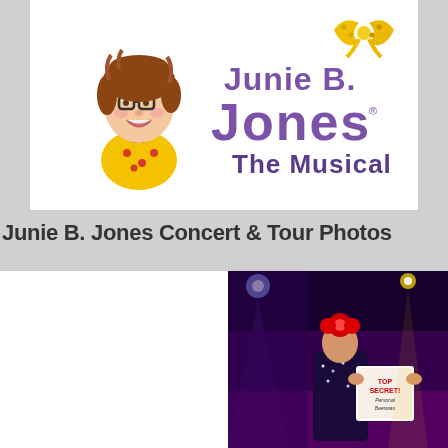[Figure (logo): Junie B. Jones The Musical logo with cartoon illustration of a girl with brown hair, glasses, yellow polka-dot shirt, and a yellow bow in the upper right. Purple text reads 'Junie B. Jones The Musical'.]
Junie B. Jones Concert & Tour Photos
[Figure (photo): Stage performance photo showing a performer on a dark stage with purple and blue stage lighting, holding a sign that reads 'TOP SECRET! Personal Beeswax', wearing a sparkly costume with a red flower headpiece.]